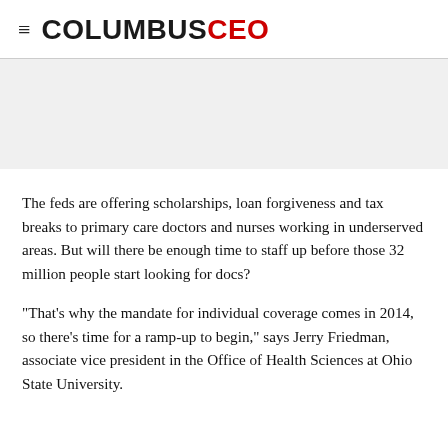COLUMBUS CEO
[Figure (other): Gray banner/advertisement placeholder area]
The feds are offering scholarships, loan forgiveness and tax breaks to primary care doctors and nurses working in underserved areas. But will there be enough time to staff up before those 32 million people start looking for docs?
"That's why the mandate for individual coverage comes in 2014, so there's time for a ramp-up to begin," says Jerry Friedman, associate vice president in the Office of Health Sciences at Ohio State University.